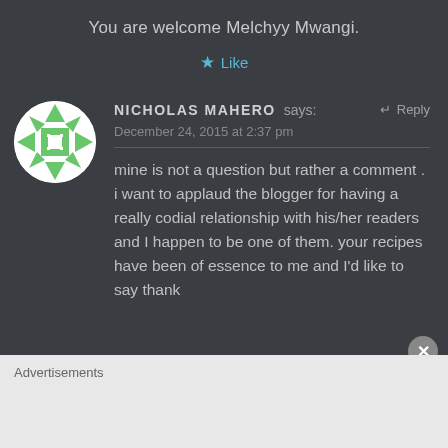You are welcome Melchyy Mwangi.
★ Like
NICHOLAS MAHERO says: ↵ Reply
December 24, 2015 at 2:37 pm
mine is not a question but rather a comment . i want to applaud the blogger for having a really codial relationship with his/her readers and I happen to be one of them. your recipes have been of essence to me and I'd like to say thank
Advertisements